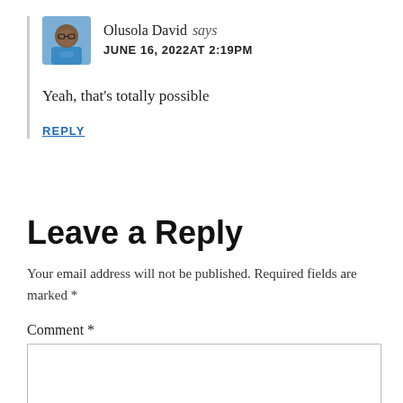[Figure (photo): Avatar photo of Olusola David, a man in a blue shirt]
Olusola David says
JUNE 16, 2022AT 2:19PM
Yeah, that's totally possible
REPLY
Leave a Reply
Your email address will not be published. Required fields are marked *
Comment *